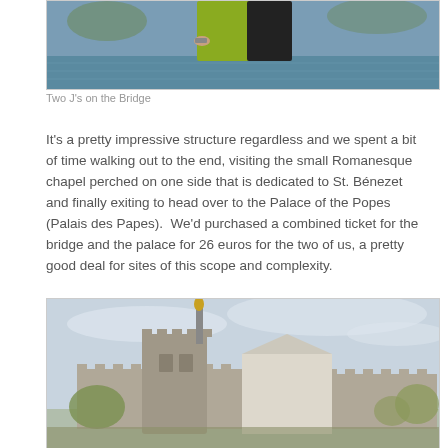[Figure (photo): Two people standing on a bridge, one in a yellow-green outfit, partial view cropped at top]
Two J's on the Bridge
It's a pretty impressive structure regardless and we spent a bit of time walking out to the end, visiting the small Romanesque chapel perched on one side that is dedicated to St. Bénezet and finally exiting to head over to the Palace of the Popes (Palais des Papes).  We'd purchased a combined ticket for the bridge and the palace for 26 euros for the two of us, a pretty good deal for sites of this scope and complexity.
[Figure (photo): Exterior view of the Palace of the Popes (Palais des Papes) in Avignon, showing large stone towers with battlements and a golden statue on top, surrounded by autumn trees under a pale blue sky]